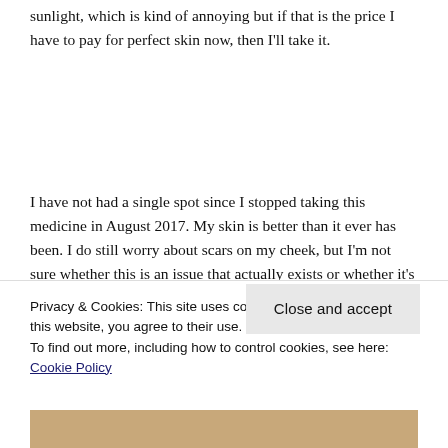sunlight, which is kind of annoying but if that is the price I have to pay for perfect skin now, then I'll take it.
I have not had a single spot since I stopped taking this medicine in August 2017. My skin is better than it ever has been. I do still worry about scars on my cheek, but I'm not sure whether this is an issue that actually exists or whether it's in my head. I know
Privacy & Cookies: This site uses cookies. By continuing to use this website, you agree to their use.
To find out more, including how to control cookies, see here: Cookie Policy
[Figure (photo): Partial photo strip visible at the bottom of the page, showing what appears to be a person's face/skin]